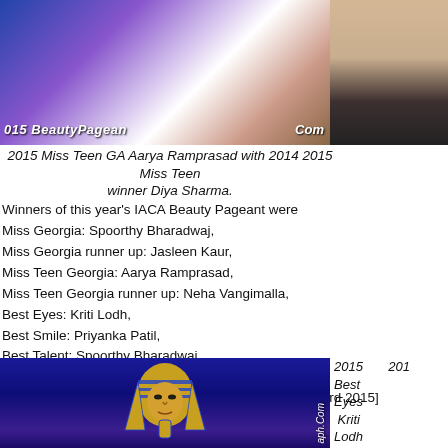[Figure (photo): Two photos side by side at top: left photo shows 2015 Beauty Pageant contestants in colorful attire with watermark '015 BeautyPagean' and 'Com', right photo shows a person in formal attire against a dark background.]
2015 Miss Teen GA Aarya Ramprasad with 2014 2015 Miss Teen winner Diya Sharma.
Winners of this year's IACA Beauty Pageant were
Miss Georgia: Spoorthy Bharadwaj,
Miss Georgia runner up: Jasleen Kaur,
Miss Teen Georgia: Aarya Ramprasad,
Miss Teen Georgia runner up: Neha Vangimalla,
Best Eyes: Kriti Lodh,
Best Smile: Priyanka Patil,
Best Talent: Spoorthy Bharadwaj,
Best Talent, Teen: Neha Vangimalla,
Miss Congeniality: Serlin Singh, [who is also Miss Buford 2015]
People's Choice: Sahithi Bodireddy.
[Figure (photo): Photo of a pharaoh mask/statue against a blue background with watermark 'aph.Com']
2015 Best Eyes Kriti Lodh with